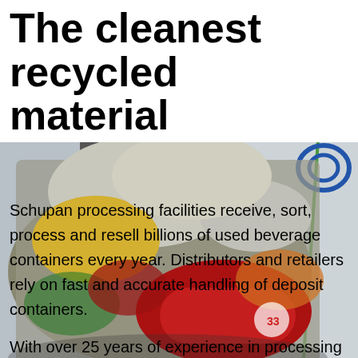The cleanest recycled material
[Figure (photo): A compressed bale of used aluminum beverage cans (UBCs) — crushed colorful cans including Dr Pepper and others — with a Schupan logo visible in the background on the right side.]
Schupan processing facilities receive, sort, process and resell billions of used beverage containers every year. Distributors and retailers rely on fast and accurate handling of deposit containers.
With over 25 years of experience in processing UBCs, we know what works. And we've developed a customized system that is the most efficient in the industry.